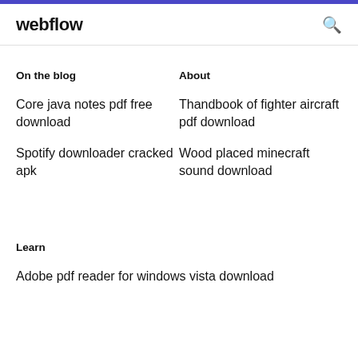webflow
On the blog
About
Core java notes pdf free download
Thandbook of fighter aircraft pdf download
Spotify downloader cracked apk
Wood placed minecraft sound download
Learn
Adobe pdf reader for windows vista download